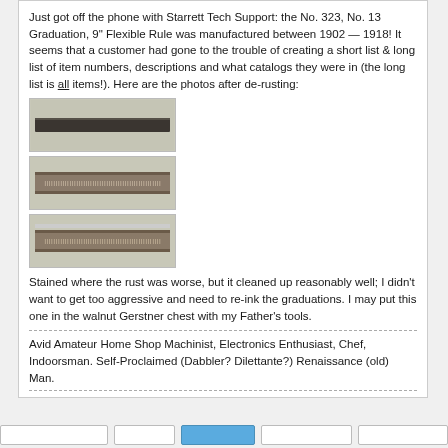Just got off the phone with Starrett Tech Support: the No. 323, No. 13 Graduation, 9" Flexible Rule was manufactured between 1902 — 1918! It seems that a customer had gone to the trouble of creating a short list & long list of item numbers, descriptions and what catalogs they were in (the long list is all items!). Here are the photos after de-rusting:
[Figure (photo): Photo 1: Top face of the de-rusted flexible steel rule, showing a dark narrow ruler against a light gray background.]
[Figure (photo): Photo 2: Close-up of the rule showing graduation markings along the edge, light gray background.]
[Figure (photo): Photo 3: Another face of the rule showing graduation markings, light gray background, slight staining visible.]
Stained where the rust was worse, but it cleaned up reasonably well; I didn't want to get too aggressive and need to re-ink the graduations. I may put this one in the walnut Gerstner chest with my Father's tools.
Avid Amateur Home Shop Machinist, Electronics Enthusiast, Chef, Indoorsman. Self-Proclaimed (Dabbler? Dilettante?) Renaissance (old) Man.